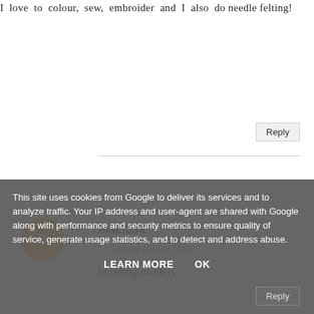I love to colour, sew, embroider and I also do needle felting!
Reply
maci234
17 January 2017 at 16:25
building models
Reply
harlina
17 January 2017 at 16:31
I love knitting and crochet
This site uses cookies from Google to deliver its services and to analyze traffic. Your IP address and user-agent are shared with Google along with performance and security metrics to ensure quality of service, generate usage statistics, and to detect and address abuse.
LEARN MORE
OK
Reply